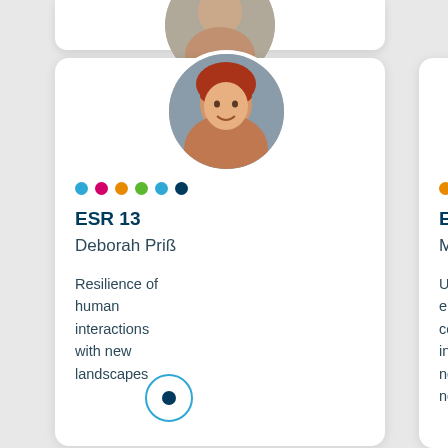[Figure (photo): Partial profile card at top, cut off]
[Figure (photo): Circular photo of Deborah Priss, a woman with red hair]
ESR 13
Deborah Priß
Resilience of human interactions with new landscapes
[Figure (photo): Circular photo of Marcel Mallow, a smiling man]
ESR 14
Marcel Mallow
Understanding the emergence of connectivity science in practice: a network of network colleagues
[Figure (photo): Partial third card cut off on right edge, partial circular nature photo visible]